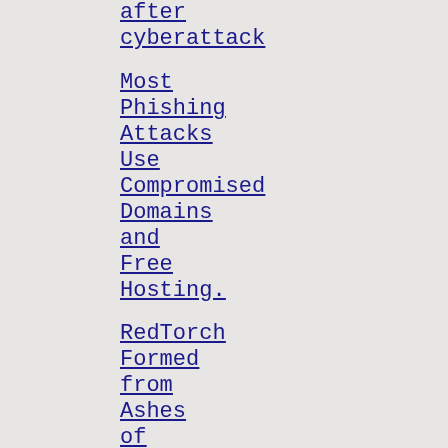after cyberattack
Most Phishing Attacks Use Compromised Domains and Free Hosting.
RedTorch Formed from Ashes of Norse Corp.
Egregor Ransomware Cartel Members Arrested